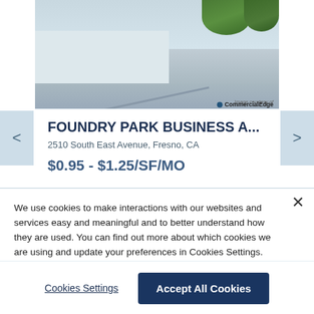[Figure (photo): Exterior photo of Foundry Park Business A... commercial property, showing a paved driveway/parking area with white/grey building and trees. Image courtesy of CommercialEdge watermark visible.]
FOUNDRY PARK BUSINESS A...
2510 South East Avenue, Fresno, CA
$0.95 - $1.25/SF/MO
We use cookies to make interactions with our websites and services easy and meaningful and to better understand how they are used. You can find out more about which cookies we are using and update your preferences in Cookies Settings. By clicking “Accept All Cookies,” you are agreeing to our use of cookies. Cookie Notice.
Cookies Settings
Accept All Cookies